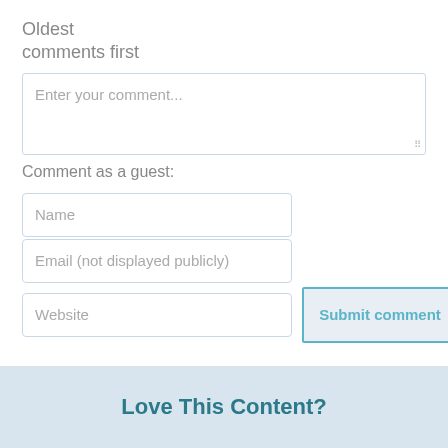Oldest
comments first
Enter your comment...
Comment as a guest:
Name
Email (not displayed publicly)
Website
Submit comment
Love This Content?